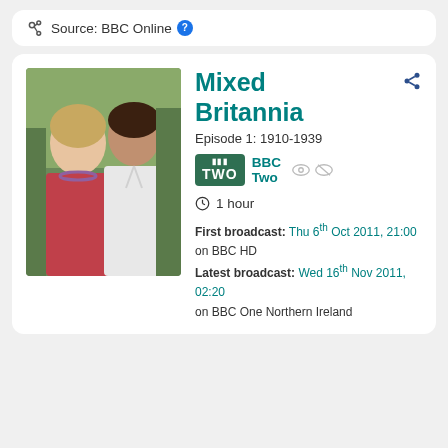Source: BBC Online ?
Mixed Britannia
Episode 1: 1910-1939
BBC Two
1 hour
First broadcast: Thu 6th Oct 2011, 21:00 on BBC HD
Latest broadcast: Wed 16th Nov 2011, 02:20 on BBC One Northern Ireland